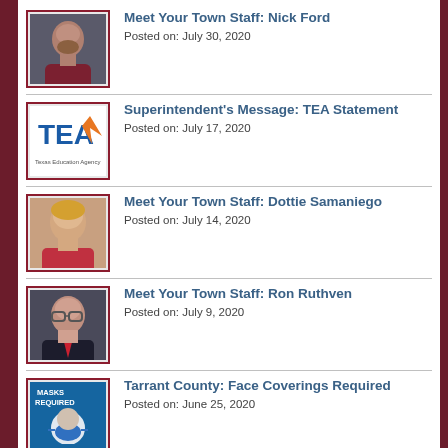Meet Your Town Staff: Nick Ford
Posted on: July 30, 2020
Superintendent's Message: TEA Statement
Posted on: July 17, 2020
Meet Your Town Staff: Dottie Samaniego
Posted on: July 14, 2020
Meet Your Town Staff: Ron Ruthven
Posted on: July 9, 2020
Tarrant County: Face Coverings Required
Posted on: June 25, 2020
Meet Your Town Sta...
Select Language